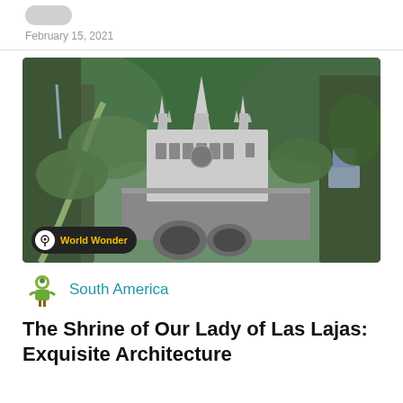February 15, 2021
[Figure (photo): Aerial view of the Shrine of Our Lady of Las Lajas, a Gothic Revival church built into a canyon in Colombia, surrounded by lush green mountains and a stone bridge.]
World Wonder
South America
The Shrine of Our Lady of Las Lajas: Exquisite Architecture